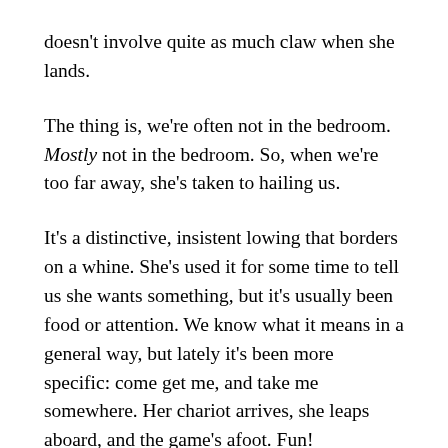doesn't involve quite as much claw when she lands.
The thing is, we're often not in the bedroom. Mostly not in the bedroom. So, when we're too far away, she's taken to hailing us.
It's a distinctive, insistent lowing that borders on a whine. She's used it for some time to tell us she wants something, but it's usually been food or attention. We know what it means in a general way, but lately it's been more specific: come get me, and take me somewhere. Her chariot arrives, she leaps aboard, and the game's afoot. Fun!